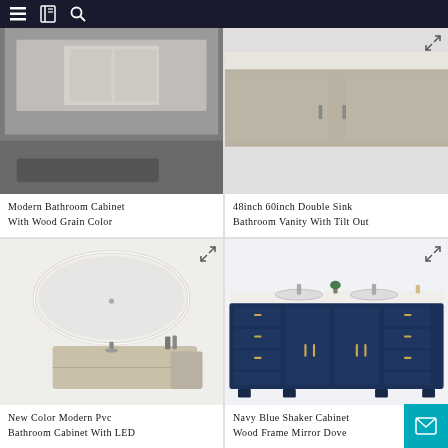Navigation header with menu, bookmark, and search icons
[Figure (photo): Modern bathroom cabinet with wood grain color finish, partially visible (top cropped)]
Modern Bathroom Cabinet With Wood Grain Color
[Figure (photo): 48inch 60inch Double Sink Bathroom Vanity With Tilt Out, partially visible (top cropped)]
48inch 60inch Double Sink Bathroom Vanity With Tilt Out
[Figure (photo): New Color Modern Pvc Bathroom Cabinet with large oval LED mirror and floating cabinet in beige/champagne color]
New Color Modern Pvc Bathroom Cabinet With LED
[Figure (photo): Navy Blue Shaker Cabinet Wood Frame Mirror Dover style bathroom vanity with white countertop and gold hardware]
Navy Blue Shaker Cabinet Wood Frame Mirror Dove